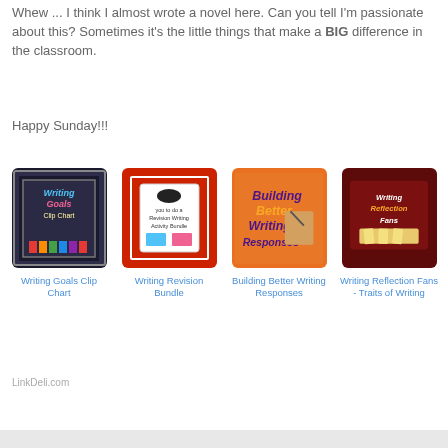Whew ... I think I almost wrote a novel here.  Can you tell I'm passionate about this?  Sometimes it's the little things that make a BIG difference in the classroom.
Happy Sunday!!!
[Figure (illustration): Writing Goals Clip Chart product thumbnail — dark chalkboard background with colorful pencils]
Writing Goals Clip Chart
[Figure (illustration): Writing Revision Bundle product thumbnail — red polka dot background with mustache graphic]
Writing Revision Bundle
[Figure (illustration): Building Better Writing Responses product thumbnail — orange background with hand writing]
Building Better Writing Responses
[Figure (illustration): Writing Reflection Fans - Traits of Writing product thumbnail — dark red background with fan cards]
Writing Reflection Fans - Traits of Writing
LinkDeli.com